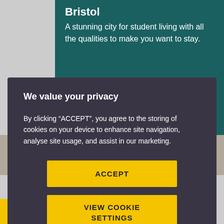Bristol
A stunning city for student living with all the qualities to make you want to stay.
We value your privacy
By clicking “ACCEPT”, you agree to the storing of cookies on your device to enhance site navigation, analyse site usage, and assist in our marketing.
ACCEPT
VIEW COOKIE SETTINGS